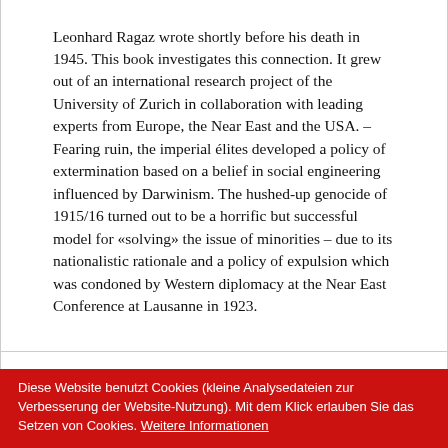Leonhard Ragaz wrote shortly before his death in 1945. This book investigates this connection. It grew out of an international research project of the University of Zurich in collaboration with leading experts from Europe, the Near East and the USA. – Fearing ruin, the imperial élites developed a policy of extermination based on a belief in social engineering influenced by Darwinism. The hushed-up genocide of 1915/16 turned out to be a horrific but successful model for «solving» the issue of minorities – due to its nationalistic rationale and a policy of expulsion which was condoned by Western diplomacy at the Near East Conference at Lausanne in 1923.
AUTOR/IN
EINBLICK
IN DEN MEDIEN
Diese Website benutzt Cookies (kleine Analysedateien zur Verbesserung der Website-Nutzung). Mit dem Klick erlauben Sie das Setzen von Cookies. Weitere Informationen